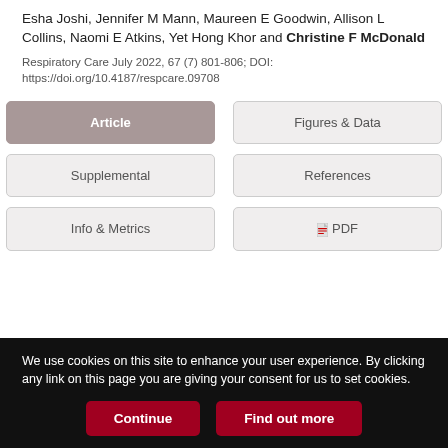Esha Joshi, Jennifer M Mann, Maureen E Goodwin, Allison L Collins, Naomi E Atkins, Yet Hong Khor and Christine F McDonald
Respiratory Care July 2022, 67 (7) 801-806; DOI: https://doi.org/10.4187/respcare.09708
Article
Figures & Data
Supplemental
References
Info & Metrics
PDF
We use cookies on this site to enhance your user experience. By clicking any link on this page you are giving your consent for us to set cookies.
Continue
Find out more